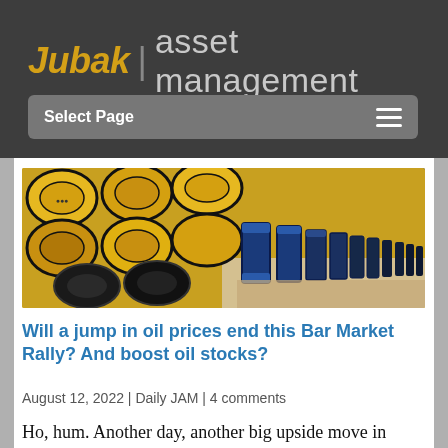Jubak | asset management
Select Page
[Figure (photo): Rows of yellow and blue oil barrels/drums stacked and lined up outdoors]
Will a jump in oil prices end this Bar Market Rally? And boost oil stocks?
August 12, 2022 | Daily JAM | 4 comments
Ho, hum. Another day, another big upside move in